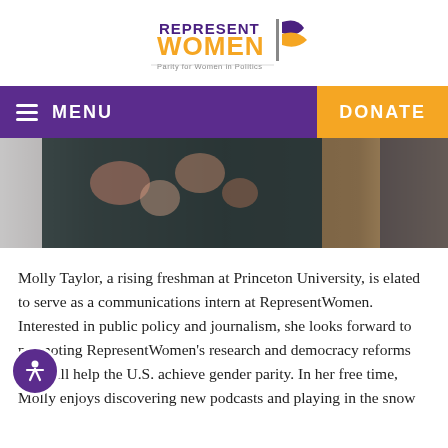[Figure (logo): RepresentWomen logo with orange text 'WOMEN', purple 'REPRESENT' text, a stylized flag, and tagline 'Parity for Women in Politics']
MENU | DONATE
[Figure (photo): Close-up photo of women, one wearing a floral print top]
Molly Taylor, a rising freshman at Princeton University, is elated to serve as a communications intern at RepresentWomen. Interested in public policy and journalism, she looks forward to promoting RepresentWomen's research and democracy reforms that will help the U.S. achieve gender parity. In her free time, Molly enjoys discovering new podcasts and playing in the snow